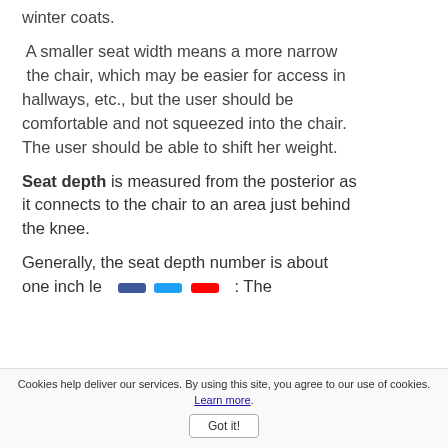allowing space for clothing such as bulky winter coats.
A smaller seat width means a more narrow the chair, which may be easier for access in hallways, etc., but the user should be comfortable and not squeezed into the chair. The user should be able to shift her weight.
Seat depth is measured from the posterior as it connects to the chair to an area just behind the knee.
Generally, the seat depth number is about one inch le [social icons] : The
Cookies help deliver our services. By using this site, you agree to our use of cookies. Learn more. Got it!